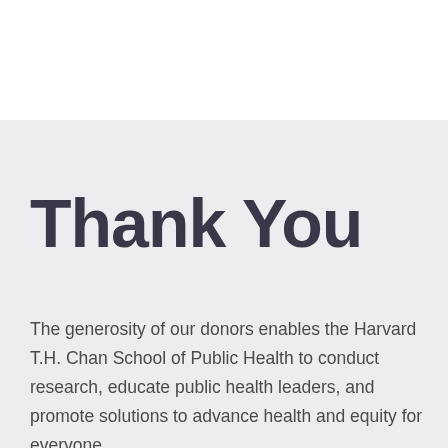Thank You
The generosity of our donors enables the Harvard T.H. Chan School of Public Health to conduct research, educate public health leaders, and promote solutions to advance health and equity for everyone.